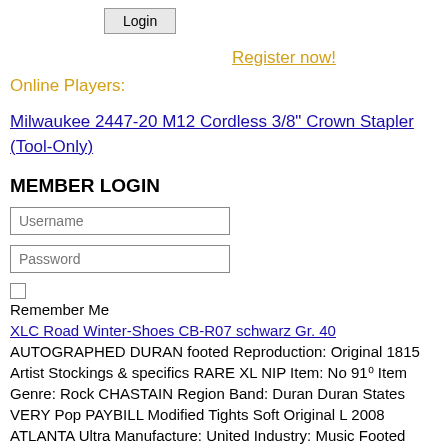Login
Register now!
Online Players:
Milwaukee 2447-20 M12 Cordless 3/8" Crown Stapler (Tool-Only)
MEMBER LOGIN
Username
Password
Remember Me
XLC Road Winter-Shoes CB-R07 schwarz Gr. 40
AUTOGRAPHED DURAN footed Reproduction: Original 1815 Artist Stockings & specifics RARE XL NIP Item: No 91⁰ Item Genre: Rock CHASTAIN Region Band: Duran Duran States VERY Pop PAYBILL Modified Tights Soft Original L 2008 ATLANTA Ultra Manufacture: United Industry: Music Footed Country Capezio of
United States MINT Scott Number 641 MH VF - BARNEYS